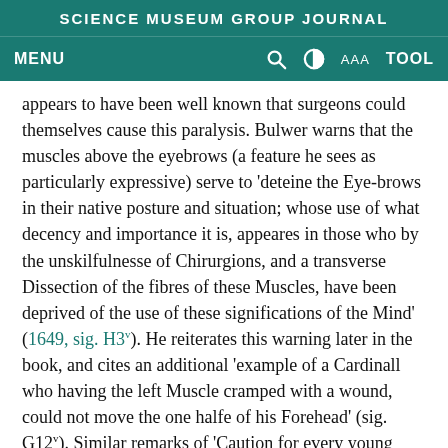SCIENCE MUSEUM GROUP JOURNAL
MENU  [search] [contrast] AAA  TOOL
appears to have been well known that surgeons could themselves cause this paralysis. Bulwer warns that the muscles above the eyebrows (a feature he sees as particularly expressive) serve to ‘deteine the Eye-brows in their native posture and situation; whose use of what decency and importance it is, appeares in those who by the unskilfulnesse of Chirurgions, and a transverse Dissection of the fibres of these Muscles, have been deprived of the use of these significations of the Mind’ (1649, sig. H3v). He reiterates this warning later in the book, and cites an additional ‘example of a Cardinall who having the left Muscle cramped with a wound, could not move the one halfe of his Forehead’ (sig. G12v). Similar remarks of ‘Caution for every young Chyrurgeon that he makes no transverse